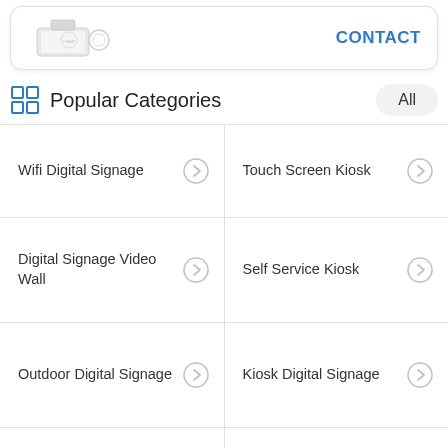[Figure (screenshot): Top card showing device image and CONTACT link]
Popular Categories
Wifi Digital Signage
Touch Screen Kiosk
Digital Signage Video Wall
Self Service Kiosk
Outdoor Digital Signage
Kiosk Digital Signage
Wall Mount LCD Display
Touch Screen Whiteboard